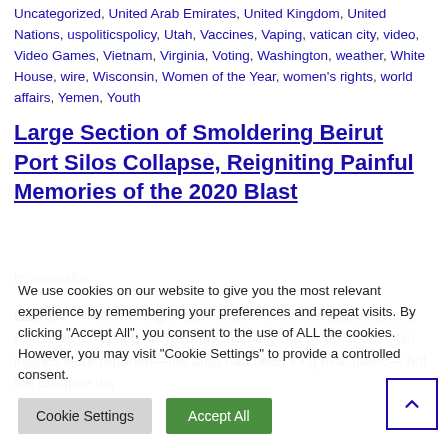Uncategorized, United Arab Emirates, United Kingdom, United Nations, uspoliticspolicy, Utah, Vaccines, Vaping, vatican city, video, Video Games, Vietnam, Virginia, Voting, Washington, weather, White House, wire, Wisconsin, Women of the Year, women's rights, world affairs, Yemen, Youth
Large Section of Smoldering Beirut Port Silos Collapse, Reigniting Painful Memories of the 2020 Blast
by journalist
BEIRUT — Another significant section of the devastated Beirut Port silos collapsed on Tuesday morning in a cloud of dust. No injuries were reported—the area had been long evacuated— but the collapse wa...
We use cookies on our website to give you the most relevant experience by remembering your preferences and repeat visits. By clicking "Accept All", you consent to the use of ALL the cookies. However, you may visit "Cookie Settings" to provide a controlled consent.